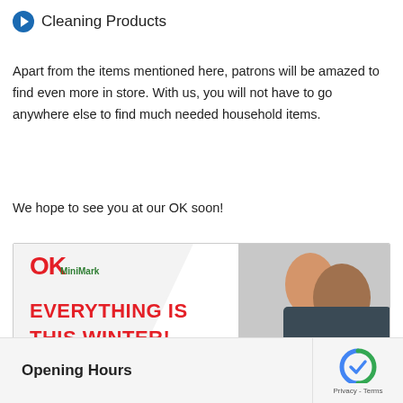Cleaning Products
Apart from the items mentioned here, patrons will be amazed to find even more in store. With us, you will not have to go anywhere else to find much needed household items.
We hope to see you at our OK soon!
[Figure (other): OK MiniMark advertisement banner with text 'EVERYTHING IS OK THIS WINTER!' and contact info 'Contact Us: +27 21 872 0143'. Shows a happy couple.]
Opening Hours